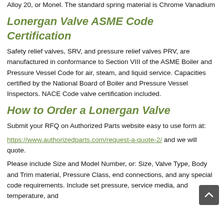Alloy 20, or Monel. The standard spring material is Chrome Vanadium
Lonergan Valve ASME Code Certification
Safety relief valves, SRV, and pressure relief valves PRV, are manufactured in conformance to Section VIII of the ASME Boiler and Pressure Vessel Code for air, steam, and liquid service. Capacities certified by the National Board of Boiler and Pressure Vessel Inspectors. NACE Code valve certification included.
How to Order a Lonergan Valve
Submit your RFQ on Authorized Parts website easy to use form at:
https://www.authorizedparts.com/request-a-quote-2/ and we will quote.
Please include Size and Model Number, or: Size, Valve Type, Body and Trim material, Pressure Class, end connections, and any special code requirements. Include set pressure, service media, and temperature, and